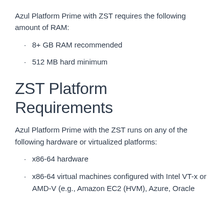Azul Platform Prime with ZST requires the following amount of RAM:
8+ GB RAM recommended
512 MB hard minimum
ZST Platform Requirements
Azul Platform Prime with the ZST runs on any of the following hardware or virtualized platforms:
x86-64 hardware
x86-64 virtual machines configured with Intel VT-x or AMD-V (e.g., Amazon EC2 (HVM), Azure, Oracle